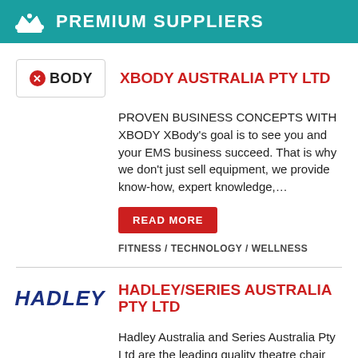PREMIUM SUPPLIERS
XBODY AUSTRALIA PTY LTD
PROVEN BUSINESS CONCEPTS WITH XBODY XBody's goal is to see you and your EMS business succeed. That is why we don't just sell equipment, we provide know-how, expert knowledge,...
READ MORE
FITNESS / TECHNOLOGY / WELLNESS
HADLEY/SERIES AUSTRALIA PTY LTD
Hadley Australia and Series Australia Pty Ltd are the leading quality theatre chair manufacturers in the southern hemisphere. The businesses work closely with architects, interior designers and...